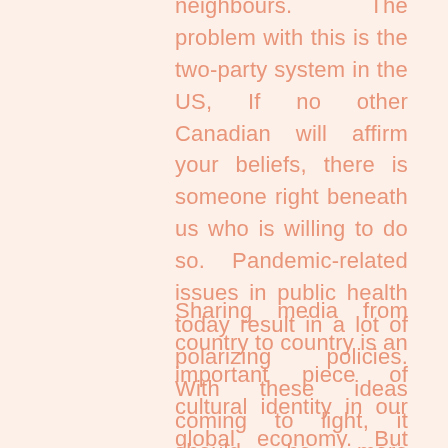neighbours. The problem with this is the two-party system in the US, If no other Canadian will affirm your beliefs, there is someone right beneath us who is willing to do so. Pandemic-related issues in public health today result in a lot of polarizing policies. With these ideas coming to light, it should be more important to interact with differing opinions than it should be to pull inspiration from similarly aligned people in a completely different system.
Sharing media from country to country is an important piece of cultural identity in our global economy. But when politics come into play, it is important we are prioritizing ideology in a way that raises a valid critique as opposed to comparisons to more serious issues. The United States riots were a militant attack